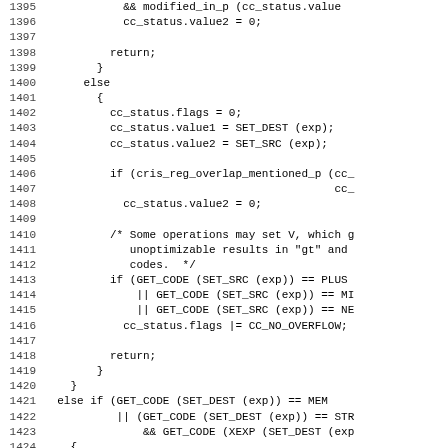[Figure (screenshot): Source code listing lines 1395-1426 showing C code with cc_status assignments, conditional logic for SET operations, and comments about overflow and MEM handling]